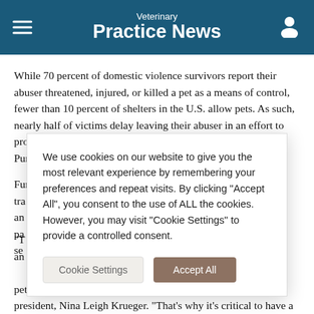Veterinary Practice News
While 70 percent of domestic violence survivors report their abuser threatened, injured, or killed a pet as a means of control, fewer than 10 percent of shelters in the U.S. allow pets. As such, nearly half of victims delay leaving their abuser in an effort to protect their pet from the inherent danger of being left behind, Purina says.
Funds raised through the Purple Leash Project will go toward tra... an... pa... se...
We use cookies on our website to give you the most relevant experience by remembering your preferences and repeat visits. By clicking "Accept All", you consent to the use of ALL the cookies. However, you may visit "Cookie Settings" to provide a controlled consent.
"Th... an... se... pets to threaten and manipulate their victims," says Purina's president, Nina Leigh Krueger. "That's why it's critical to have a